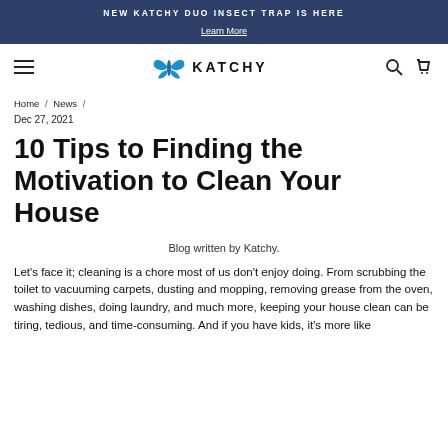NEW KATCHY DUO INSECT TRAP IS HERE
Learn More
[Figure (logo): Katchy brand logo with butterfly icon and text KATCHY, navigation icons for search and cart, hamburger menu]
Home / News /
Dec 27, 2021
10 Tips to Finding the Motivation to Clean Your House
Blog written by Katchy.
Let's face it; cleaning is a chore most of us don't enjoy doing. From scrubbing the toilet to vacuuming carpets, dusting and mopping, removing grease from the oven, washing dishes, doing laundry, and much more, keeping your house clean can be tiring, tedious, and time-consuming. And if you have kids, it's more like